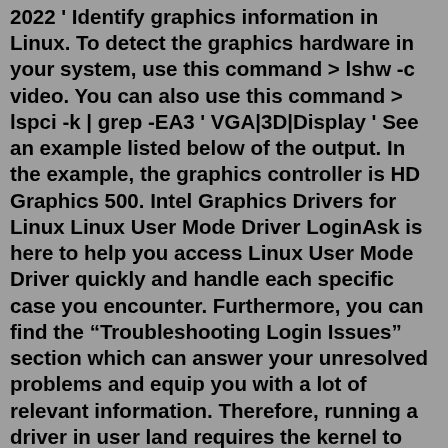2022 ' Identify graphics information in Linux. To detect the graphics hardware in your system, use this command > lshw -c video. You can also use this command > lspci -k | grep -EA3 ' VGA|3D|Display ' See an example listed below of the output. In the example, the graphics controller is HD Graphics 500. Intel Graphics Drivers for Linux Linux User Mode Driver LoginAsk is here to help you access Linux User Mode Driver quickly and handle each specific case you encounter. Furthermore, you can find the “Troubleshooting Login Issues” section which can answer your unresolved problems and equip you with a lot of relevant information. Therefore, running a driver in user land requires the kernel to show a userland program things like mapped-in memory or device registers or interrupts or other special features. That can be tricky, as the special features a device might require don't easily fit in to the usual Unix-style API presented to user land programs.The moved code could still run in userland, it just wouldn't be a driver, it would be a library or similar. I believe your so-